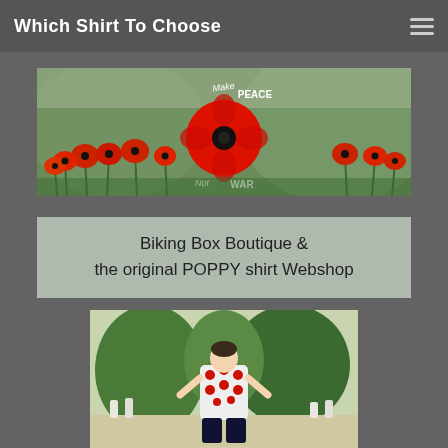Which Shirt To Choose
[Figure (photo): Banner image of red poppy flowers in a field with a large red poppy graphic in the center reading 'Make PEACE Not WAR']
Biking Box Boutique &
the original POPPY shirt Webshop
[Figure (photo): Person wearing a red and white polka-dot cycling jersey standing in what appears to be a military cemetery with trees and gravestones in the background]